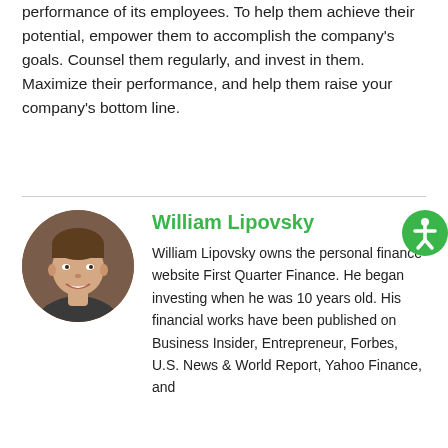performance of its employees. To help them achieve their potential, empower them to accomplish the company's goals. Counsel them regularly, and invest in them. Maximize their performance, and help them raise your company's bottom line.
[Figure (photo): Circular headshot photo of William Lipovsky, a young man smiling]
William Lipovsky
William Lipovsky owns the personal finance website First Quarter Finance. He began investing when he was 10 years old. His financial works have been published on Business Insider, Entrepreneur, Forbes, U.S. News & World Report, Yahoo Finance, and